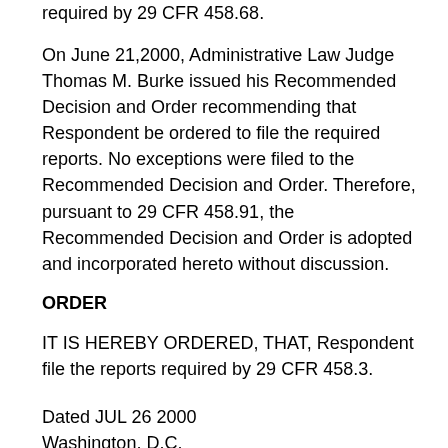required by 29 CFR 458.68.
On June 21,2000, Administrative Law Judge Thomas M. Burke issued his Recommended Decision and Order recommending that Respondent be ordered to file the required reports. No exceptions were filed to the Recommended Decision and Order. Therefore, pursuant to 29 CFR 458.91, the Recommended Decision and Order is adopted and incorporated hereto without discussion.
ORDER
IT IS HEREBY ORDERED, THAT, Respondent file the reports required by 29 CFR 458.3.
Dated JUL 26 2000
Washington, D.C.